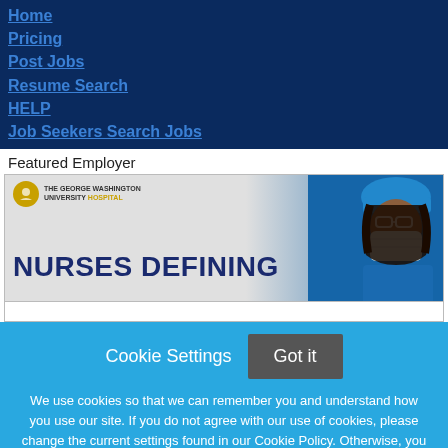Home
Pricing
Post Jobs
Resume Search
HELP
Job Seekers Search Jobs
Featured Employer
[Figure (illustration): The George Washington University Hospital banner with 'NURSES DEFINING' headline and a nurse wearing a surgical mask and blue cap on the right side.]
Cookie Settings  Got it

We use cookies so that we can remember you and understand how you use our site. If you do not agree with our use of cookies, please change the current settings found in our Cookie Policy. Otherwise, you agree to the use of the cookies as they are currently set.